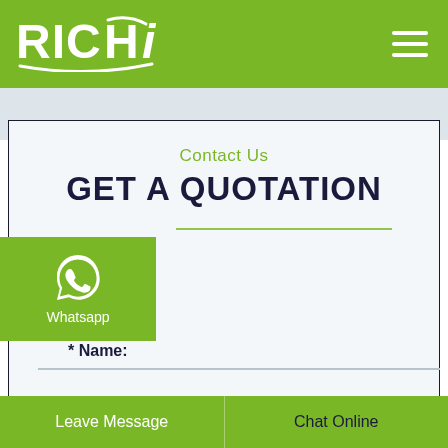[Figure (logo): RICHi company logo in white on green header background]
Contact Us
GET A QUOTATION
* Name:
* Email:
[Figure (illustration): WhatsApp icon button with label 'Whatsapp' on green background]
Leave Message    Chat Online